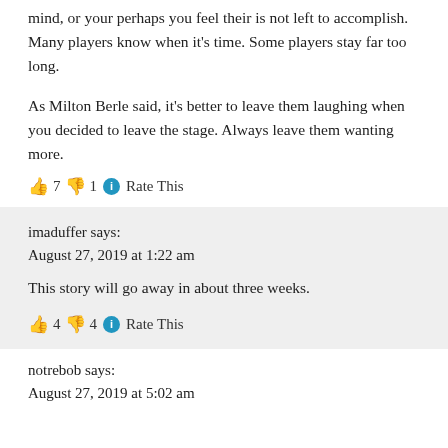mind, or your perhaps you feel their is not left to accomplish. Many players know when it’s time. Some players stay far too long.
As Milton Berle said, it’s better to leave them laughing when you decided to leave the stage. Always leave them wanting more.
👍 7 👎 1 ℹ Rate This
imaduffer says:
August 27, 2019 at 1:22 am
This story will go away in about three weeks.
👍 4 👎 4 ℹ Rate This
notrebob says:
August 27, 2019 at 5:02 am